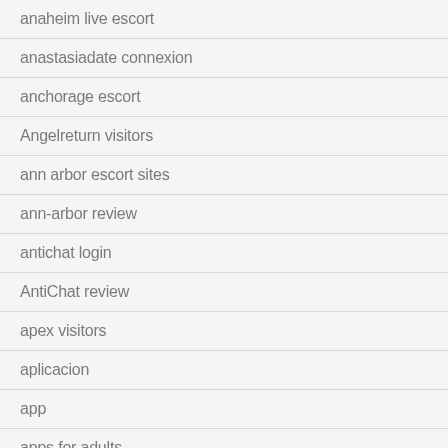anaheim live escort
anastasiadate connexion
anchorage escort
Angelreturn visitors
ann arbor escort sites
ann-arbor review
antichat login
AntiChat review
apex visitors
aplicacion
app
apps for adults